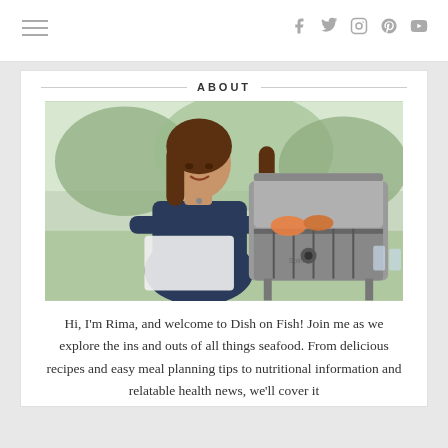≡   f  t  instagram  pinterest  youtube
ABOUT
[Figure (photo): Woman smiling next to a Weber Spirit grill outdoors, holding a pan of seafood. Green trees in background.]
Hi, I'm Rima, and welcome to Dish on Fish! Join me as we explore the ins and outs of all things seafood. From delicious recipes and easy meal planning tips to nutritional information and relatable health news, we'll cover it